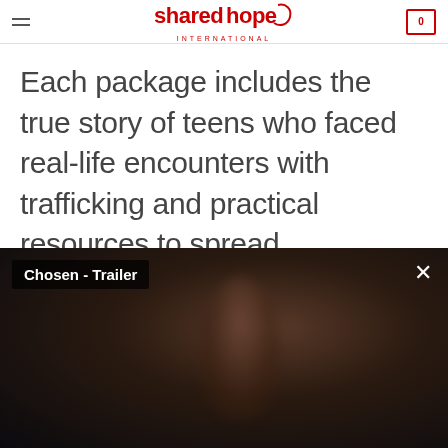shared hope INTERNATIONAL
Each package includes the true story of teens who faced real-life encounters with trafficking and practical resources to spread awareness and take action.
[Figure (screenshot): Video player showing 'Chosen - Trailer' with a dark, blurred background image of a person silhouette. An X (close) button appears in the top right corner.]